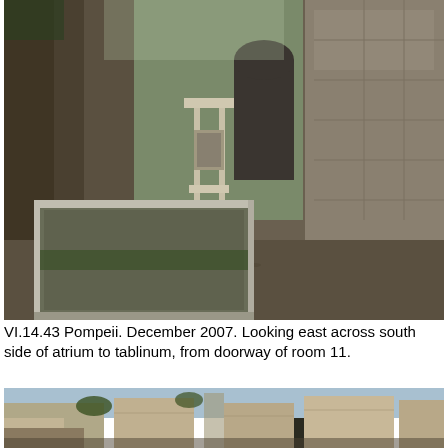[Figure (photo): Photograph of Pompeii VI.14.43 interior. Looking east across the south side of the atrium to the tablinum, from the doorway of room 11. Shows stone/marble impluvium in foreground, gravel floor path, stone walls, and an arch or doorway in the background. December 2007.]
VI.14.43 Pompeii. December 2007. Looking east across south side of atrium to tablinum, from doorway of room 11.
[Figure (photo): Photograph of ruined stone walls at Pompeii VI.14.43. The image shows ancient Roman masonry walls in various states of decay, with rubble-filled lower sections and partially standing upper sections. Some vegetation (ivy/weeds) growing on the walls. Blue sky visible above.]